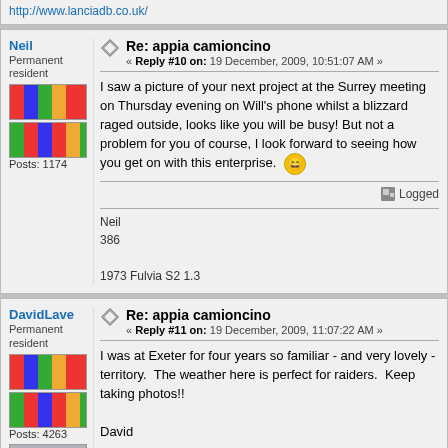http://www.lanciadb.co.uk/
Re: appia camioncino — Reply #10 on: 19 December, 2009, 10:51:07 AM
I saw a picture of your next project at the Surrey meeting on Thursday evening on Will's phone whilst a blizzard raged outside, looks like you will be busy! But not a problem for you of course, I look forward to seeing how you get on with this enterprise.
Neil
386

1973 Fulvia S2 1.3
Re: appia camioncino — Reply #11 on: 19 December, 2009, 11:07:22 AM
I was at Exeter for four years so familiar - and very lovely - territory.  The weather here is perfect for raiders.  Keep taking photos!!

David